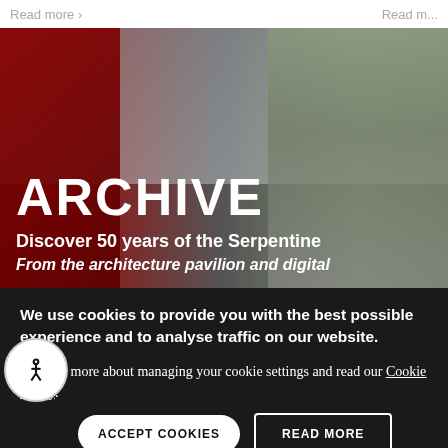Read more ›   Read m...
[Figure (photo): Archive banner image showing a red architectural structure on the left and a tree against a cloudy sky on the right, with white text overlay reading ARCHIVE, Discover 50 years of the Serpentine, From the architecture pavilion and digital]
ARCHIVE
Discover 50 years of the Serpentine
From the architecture pavilion and digital
We use cookies to provide you with the best possible experience and to analyse traffic on our website.
Find out more about managing your cookie settings and read our Cookie Policy.
ACCEPT COOKIES
READ MORE